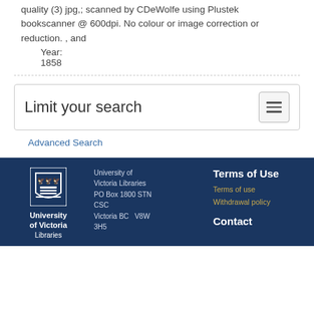quality (3) jpg,; scanned by CDeWolfe using Plustek bookscanner @ 600dpi. No colour or image correction or reduction. , and
Year:
1858
Limit your search
Advanced Search
University of Victoria Libraries PO Box 1800 STN CSC Victoria BC V8W 3H5 | Terms of Use | Terms of use | Withdrawal policy | Contact